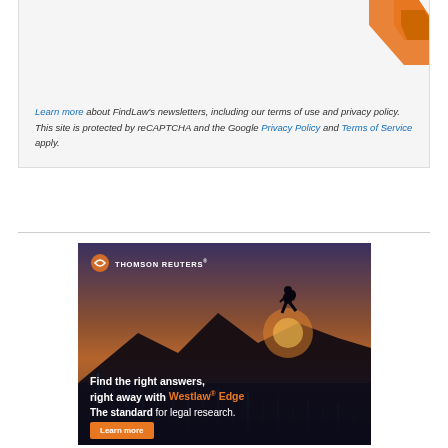Learn more about FindLaw's newsletters, including our terms of use and privacy policy. This site is protected by reCAPTCHA and the Google Privacy Policy and Terms of Service apply.
[Figure (illustration): Thomson Reuters advertisement showing a silhouette of a person with a backpack standing on a mountain peak at sunset, with digital blue light streams below. Text reads: 'Find the right answers, right away with Westlaw® Edge. The standard for legal research.' with an orange 'Learn more' button. Thomson Reuters logo at top left.]